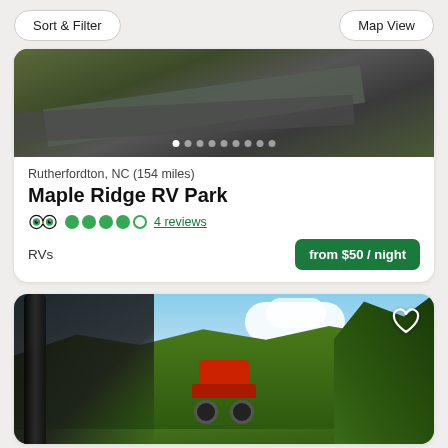Sort & Filter
Map View
[Figure (photo): Aerial view of a road through forested area with carousel dot indicators]
Rutherfordton, NC (154 miles)
Maple Ridge RV Park
4 reviews
RVs
from $50 / night
[Figure (photo): Outdoor trail scene with lush green trees, blue sky with clouds, and an ATV/side-by-side vehicle on a dirt trail]